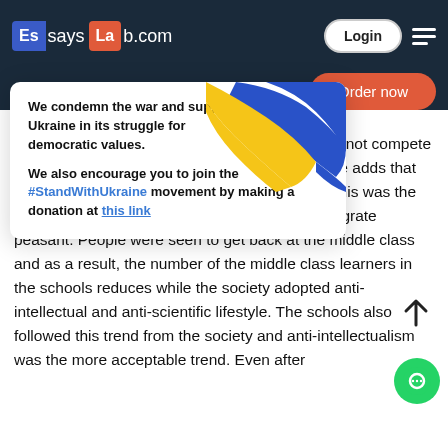[Figure (screenshot): EssaysLab.com website header with dark navy background, logo showing 'Es' in blue block, 'says' in white, 'La' in orange block, 'b.com' in white. Login button and hamburger menu on right.]
[Figure (infographic): Ukraine support popup with white background, bold text condemning war and supporting Ukraine, Ukraine flag ribbon graphic on right, close X button, #StandWithUkraine link and donation link.]
n also faulted the this time. In his view, nd could not compete in any way with the system used in Germany. He adds that this system had been inadequate since 1869. This was the year in which the system had been libera to integrate peasant. People were seen to get back at the middle class and as a result, the number of the middle class learners in the schools reduces while the society adopted anti-intellectual and anti-scientific lifestyle. The schools also followed this trend from the society and anti-intellectualism was the more acceptable trend. Even after